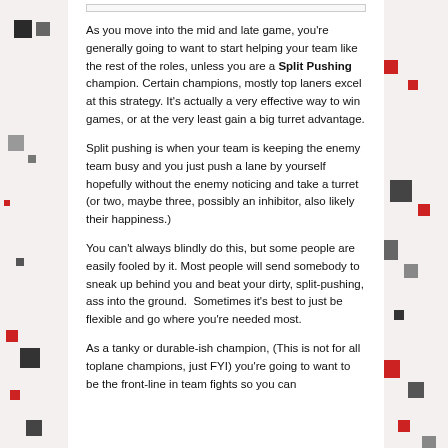As you move into the mid and late game, you're generally going to want to start helping your team like the rest of the roles, unless you are a Split Pushing champion. Certain champions, mostly top laners excel at this strategy. It's actually a very effective way to win games, or at the very least gain a big turret advantage.
Split pushing is when your team is keeping the enemy team busy and you just push a lane by yourself hopefully without the enemy noticing and take a turret (or two, maybe three, possibly an inhibitor, also likely their happiness.)
You can't always blindly do this, but some people are easily fooled by it. Most people will send somebody to sneak up behind you and beat your dirty, split-pushing, ass into the ground.  Sometimes it's best to just be flexible and go where you're needed most.
As a tanky or durable-ish champion, (This is not for all toplane champions, just FYI) you're going to want to be the front-line in team fights so you can